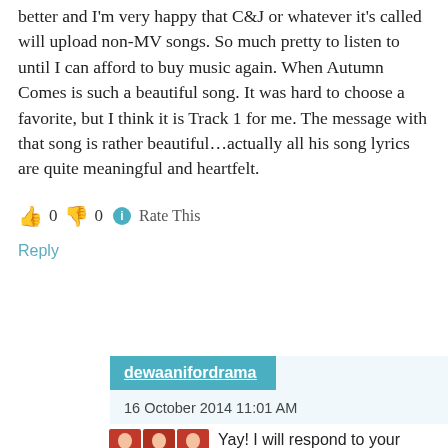better and I'm very happy that C&J or whatever it's called will upload non-MV songs. So much pretty to listen to until I can afford to buy music again. When Autumn Comes is such a beautiful song. It was hard to choose a favorite, but I think it is Track 1 for me. The message with that song is rather beautiful…actually all his song lyrics are quite meaningful and heartfelt.
👍 0 👎 0 ℹ Rate This
Reply
dewaanifordrama
16 October 2014 11:01 AM
[Figure (photo): 3x3 grid of avatar photos showing a woman]
Yay! I will respond to your comment ASAP. I feel like he just gets better and